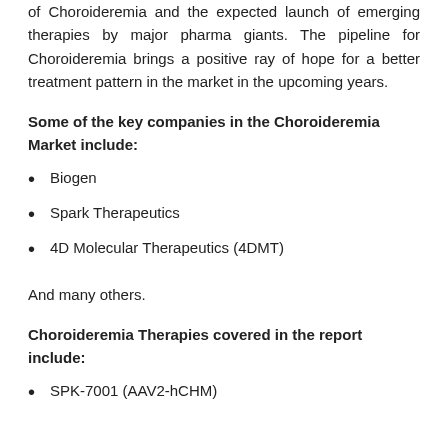of Choroideremia and the expected launch of emerging therapies by major pharma giants. The pipeline for Choroideremia brings a positive ray of hope for a better treatment pattern in the market in the upcoming years.
Some of the key companies in the Choroideremia Market include:
Biogen
Spark Therapeutics
4D Molecular Therapeutics (4DMT)
And many others.
Choroideremia Therapies covered in the report include:
SPK-7001 (AAV2-hCHM)